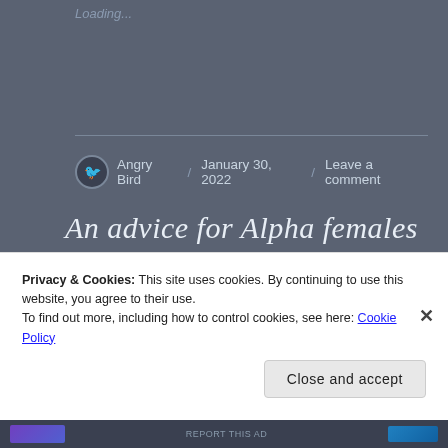Loading...
Angry Bird / January 30, 2022 / Leave a comment
An advice for Alpha females for marriage..
I want to give an advice to young women/girls who
Privacy & Cookies: This site uses cookies. By continuing to use this website, you agree to their use.
To find out more, including how to control cookies, see here: Cookie Policy
Close and accept